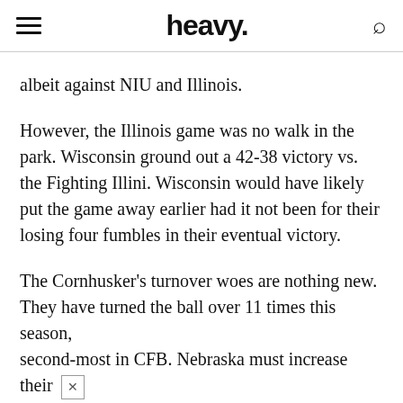heavy.
albeit against NIU and Illinois.
However, the Illinois game was no walk in the park. Wisconsin ground out a 42-38 victory vs. the Fighting Illini. Wisconsin would have likely put the game away earlier had it not been for their losing four fumbles in their eventual victory.
The Cornhusker's turnover woes are nothing new. They have turned the ball over 11 times this season, second-most in CFB. Nebraska must increase their offensive efficiency tenfold if they have any hope of